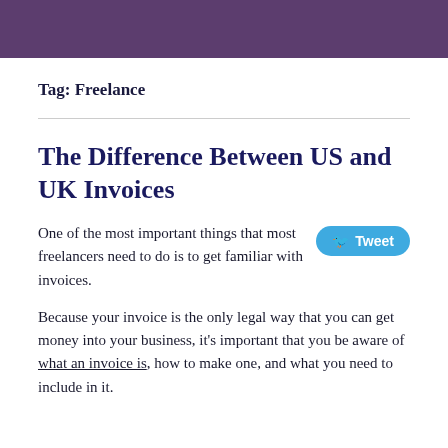Tag: Freelance
The Difference Between US and UK Invoices
One of the most important things that most freelancers need to do is to get familiar with invoices.
Because your invoice is the only legal way that you can get money into your business, it's important that you be aware of what an invoice is, how to make one, and what you need to include in it.